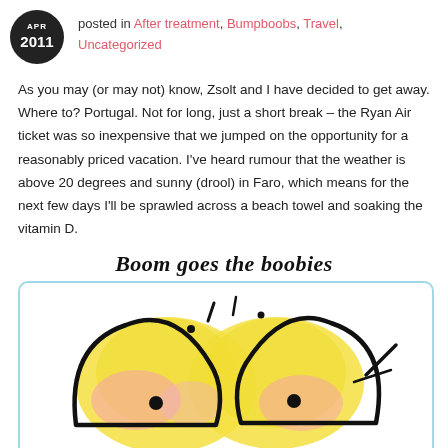APR 2011 — posted in After treatment, Bumpboobs, Travel, Uncategorized
As you may (or may not) know, Zsolt and I have decided to get away. Where to? Portugal. Not for long, just a short break – the Ryan Air ticket was so inexpensive that we jumped on the opportunity for a reasonably priced vacation. I've heard rumour that the weather is above 20 degrees and sunny (drool) in Faro, which means for the next few days I'll be sprawled across a beach towel and soaking the vitamin D.
[Figure (illustration): Cartoon illustration titled 'Boom goes the boobies' showing a stylized drawing of breasts with yellow and pink watercolor blobs, thick black outlines, inside a light blue rounded rectangle border.]